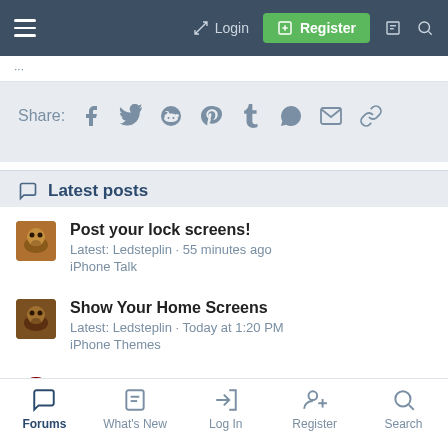Login  Register
Share: (social icons: Facebook, Twitter, Reddit, Pinterest, Tumblr, WhatsApp, Email, Link)
Latest posts
Post your lock screens! Latest: Ledsteplin · 55 minutes ago iPhone Talk
Show Your Home Screens Latest: Ledsteplin · Today at 1:20 PM iPhone Themes
Laugh of the Day
Forums  What's New  Log In  Register  Search